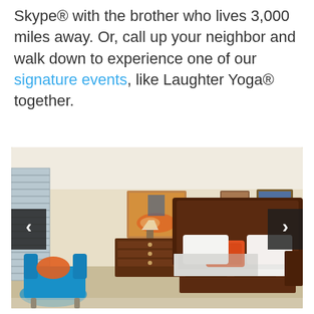Skype® with the brother who lives 3,000 miles away. Or, call up your neighbor and walk down to experience one of our signature events, like Laughter Yoga® together.
[Figure (photo): A well-furnished bedroom with a large wooden sleigh bed with white linens and orange pillows, a bright teal armchair with an orange pillow in the foreground, two paintings on the wall, wooden dresser, warm beige walls, and window with blinds on the left. Navigation arrows on both sides of the image.]